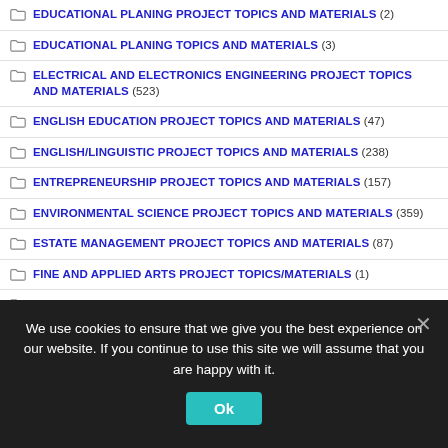EDUCATIONAL PLANING PROJECT TOPICS AND MATERIALS (2)
EDUCATIONAL PLANING TOPICS AND MATERIALS (3)
ELECTRICAL AND ELECTRONICS ENGINEERING PROJECT TOPICS AND MATERIALS (523)
ENGLISH EDUCATION PROJECT TOPICS AND MATERIALS (47)
ENGLISH/LINGUISTIC PROJECT TOPICS AND MATERIALS (238)
ENTREPRENEURSHIP PROJECT TOPICS AND MATERIALS (157)
ENVIRONMENTAL SCIENCE PROJECT TOPICS AND MATERIALS (359)
ESTATE MANAGEMENT PROJECT TOPICS AND MATERIALS (87)
FINE AND APPLIED ARTS PROJECT TOPICS/MATERIALS (1)
FISHERY AND AQUACULTURE TOPICS AND MATERIAL (30)
We use cookies to ensure that we give you the best experience on our website. If you continue to use this site we will assume that you are happy with it.